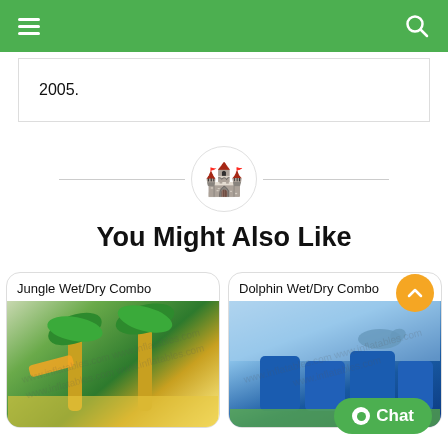navigation header with hamburger menu and search icon
2005.
[Figure (illustration): Inflatable bounce house castle emoji/icon centered between two horizontal divider lines]
You Might Also Like
[Figure (photo): Jungle Wet/Dry Combo inflatable bouncer with palm trees, photographed inside a warehouse]
[Figure (photo): Dolphin Wet/Dry Combo inflatable bouncer in blue and white, shown outdoors]
Chat